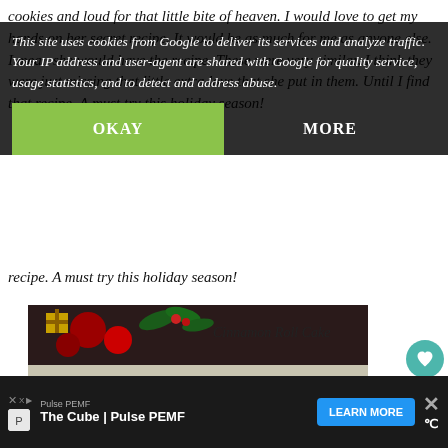cookies and loud for that little bite of heaven. I would love to get my hands on her recipe. It would be as much for me as anyone else. I mean she would have the recipe. These were very similar, I think they were just missing that little extra love that she put in them. Until I find that recipe. A must try this holiday season!
This site uses cookies from Google to deliver its services and analyze traffic. Your IP address and user-agent are shared with Google for quality service, usage statistics, and to detect and address abuse.
[Figure (photo): Photo of a slice of Cinnamon Roll Cake on a white decorative plate with a fork, with Christmas decorations (red ornaments, holly) in the background. Text overlay reads 'Cinnamon Roll Cake'. Credit: Served Up With Love]
WHAT'S NEXT → Gooseberry Patch The...
I knew when I saw this one that it would be a hit with my family. I
Pulse PEMF
The Cube | Pulse PEMF
LEARN MORE